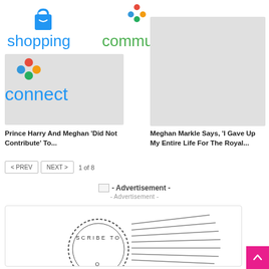[Figure (logo): Shopping logo with shopping bag icon and blue text 'shopping']
[Figure (logo): Community logo with people icon and green text 'community']
[Figure (logo): Connect logo with people icon and blue text 'connect']
[Figure (photo): Grey placeholder image box left]
[Figure (photo): Grey placeholder image box right]
Prince Harry And Meghan 'Did Not Contribute' To...
Meghan Markle Says, 'I Gave Up My Entire Life For The Royal...'
< PREV   NEXT >   1 of 8
- Advertisement -
- Advertisement -
[Figure (illustration): Subscribe section with postage stamp and mail streaks illustration]